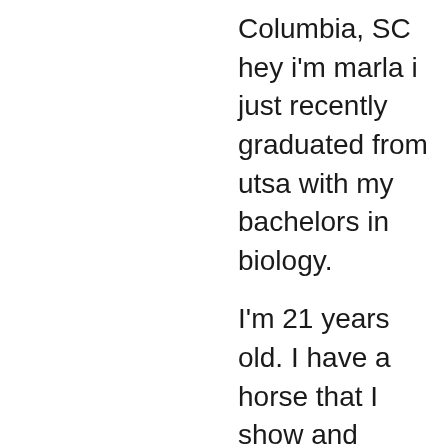Columbia, SC hey i'm marla i just recently graduated from utsa with my bachelors in biology.
I'm 21 years old. I have a horse that I show and breed. I've been broken, battered, abused and misused.
I love having